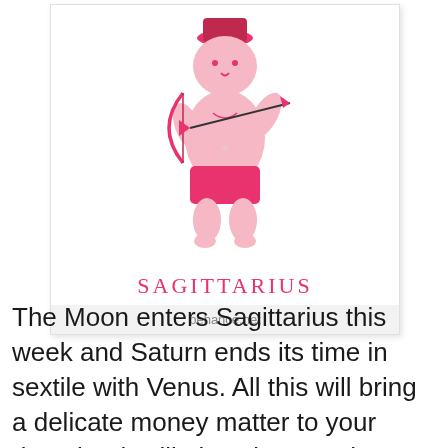[Figure (illustration): Cartoon illustration of Sagittarius zodiac sign: a chubby humanoid figure wearing a pink/red cap and red shorts, holding a bow and arrow, drawn in a pink/red color scheme]
SAGITTARIUS
behance.net
The Moon enters Sagittarius this week and Saturn ends its time in sextile with Venus. All this will bring a delicate money matter to your door, but it will also give you the right courage and fortitude to deal with it. It looks likely that someone close to you is involved